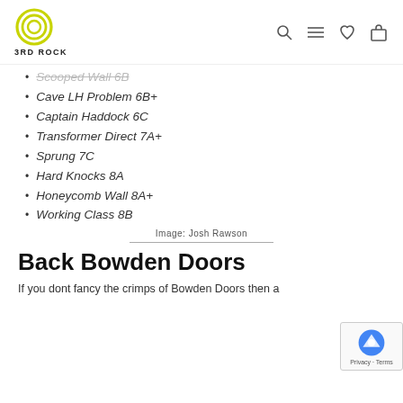3RD ROCK
Scooped Wall 6B
Cave LH Problem 6B+
Captain Haddock 6C
Transformer Direct 7A+
Sprung 7C
Hard Knocks 8A
Honeycomb Wall 8A+
Working Class 8B
Image: Josh Rawson
Back Bowden Doors
If you dont fancy the crimps of Bowden Doors then a